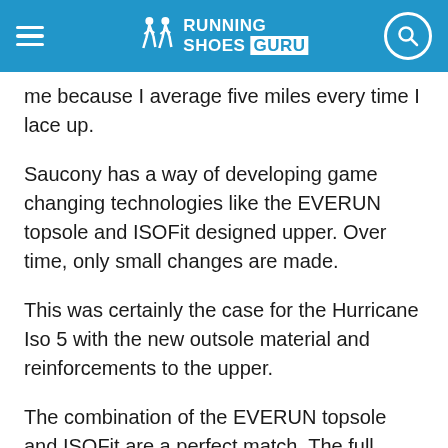RUNNING SHOES GURU
me because I average five miles every time I lace up.
Saucony has a way of developing game changing technologies like the EVERUN topsole and ISOFit designed upper. Over time, only small changes are made.
This was certainly the case for the Hurricane Iso 5 with the new outsole material and reinforcements to the upper.
The combination of the EVERUN topsole and ISOFit are a perfect match. The full length EVERUN midsole and topsole make every run cushioned and comfortable. EVERUN excels at energy return,